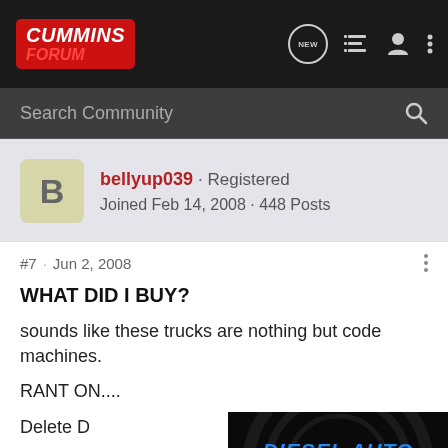Cummins Forum
Search Community
bellyup039 · Registered
Joined Feb 14, 2008 · 448 Posts
#7 · Jun 2, 2008
WHAT DID I BUY?
sounds like these trucks are nothing but code machines.
RANT ON....
Delete D...
Buy cod...
Block o...
[Figure (photo): Diesel Auto Power .com advertisement banner with blue metallic text on dark background]